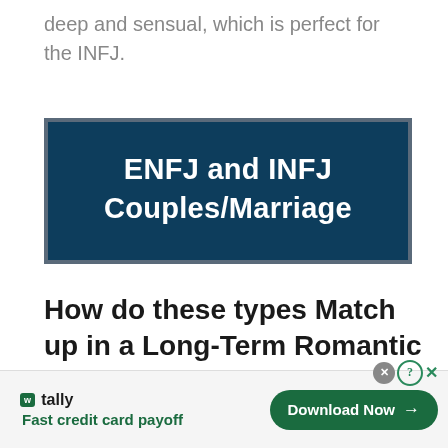deep and sensual, which is perfect for the INFJ.
[Figure (other): Dark blue banner with text 'ENFJ and INFJ Couples/Marriage' centered in white bold font, outlined with a gray border]
How do these types Match up in a Long-Term Romantic Relationship?
[Figure (other): Advertisement bar for Tally app - Fast credit card payoff, with Download Now button]